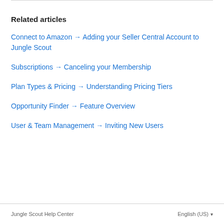Related articles
Connect to Amazon → Adding your Seller Central Account to Jungle Scout
Subscriptions → Canceling your Membership
Plan Types & Pricing → Understanding Pricing Tiers
Opportunity Finder → Feature Overview
User & Team Management → Inviting New Users
Jungle Scout Help Center    English (US)